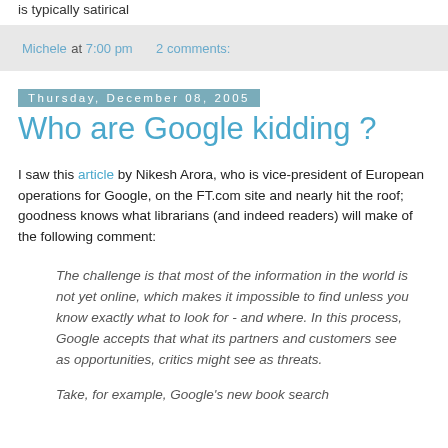is typically satirical
Michele at 7:00 pm    2 comments:
Thursday, December 08, 2005
Who are Google kidding ?
I saw this article by Nikesh Arora, who is vice-president of European operations for Google, on the FT.com site and nearly hit the roof; goodness knows what librarians (and indeed readers) will make of the following comment:
The challenge is that most of the information in the world is not yet online, which makes it impossible to find unless you know exactly what to look for - and where. In this process, Google accepts that what its partners and customers see as opportunities, critics might see as threats.
Take, for example, Google's new book search